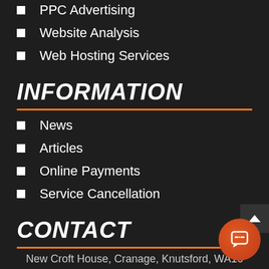PPC Advertising
Website Analysis
Web Hosting Services
INFORMATION
News
Articles
Online Payments
Service Cancellation
CONTACT
New Croft House, Cranage, Knutsford, WA16